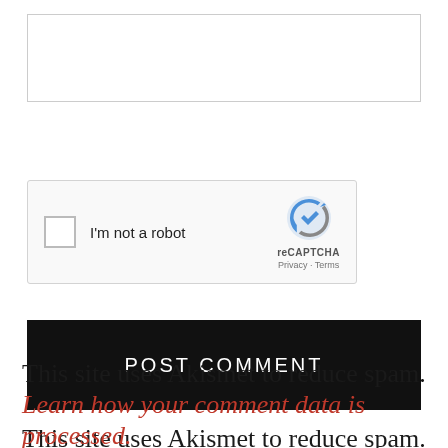[Figure (screenshot): Text input box (empty white textarea with border)]
[Figure (screenshot): reCAPTCHA widget with checkbox labeled 'I'm not a robot', reCAPTCHA logo, Privacy and Terms links]
[Figure (screenshot): Black POST COMMENT submit button with white uppercase text]
This site uses Akismet to reduce spam. Learn how your comment data is processed.